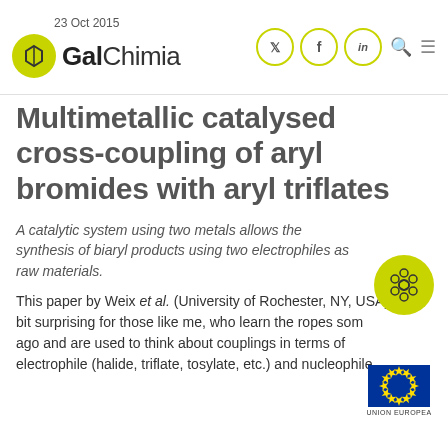23 Oct 2015 — GalChimia
Multimetallic catalysed cross-coupling of aryl bromides with aryl triflates
A catalytic system using two metals allows the synthesis of biaryl products using two electrophiles as raw materials.
[Figure (logo): GalChimia molecule badge logo — yellow-green circle with hexagonal molecule structure]
This paper by Weix et al. (University of Rochester, NY, USA) is a bit surprising for those like me, who learn the ropes some ago and are used to think about couplings in terms of electrophile (halide, triflate, tosylate, etc.) and nucleophile
[Figure (logo): European Union flag logo — blue rectangle with yellow stars circle, text UNION EUROPEA below]